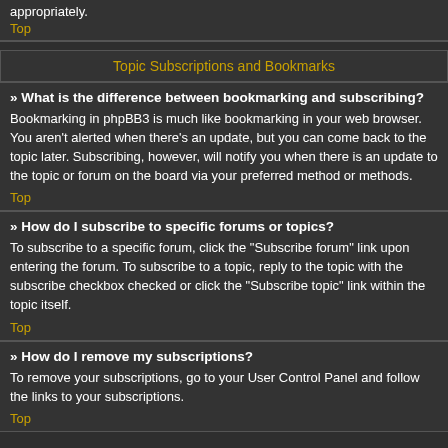appropriately.
Top
Topic Subscriptions and Bookmarks
» What is the difference between bookmarking and subscribing?
Bookmarking in phpBB3 is much like bookmarking in your web browser. You aren't alerted when there's an update, but you can come back to the topic later. Subscribing, however, will notify you when there is an update to the topic or forum on the board via your preferred method or methods.
Top
» How do I subscribe to specific forums or topics?
To subscribe to a specific forum, click the "Subscribe forum" link upon entering the forum. To subscribe to a topic, reply to the topic with the subscribe checkbox checked or click the "Subscribe topic" link within the topic itself.
Top
» How do I remove my subscriptions?
To remove your subscriptions, go to your User Control Panel and follow the links to your subscriptions.
Top
Attachments